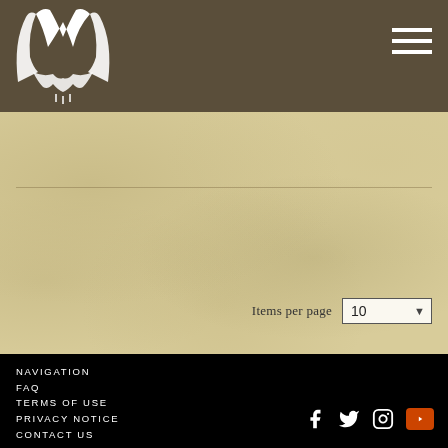[Figure (logo): White stylized bird/angel wing logo on dark brown header background]
Items per page  10
NAVIGATION
FAQ
TERMS OF USE
PRIVACY NOTICE
CONTACT US
[Figure (illustration): Social media icons: Facebook, Twitter, Instagram, YouTube (red)]